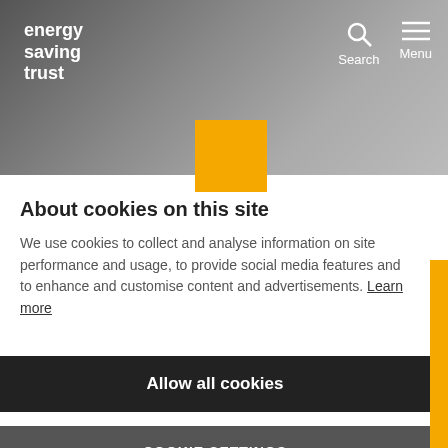energy saving trust
[Figure (logo): Energy Saving Trust logo - white text on gradient grey header background with search and menu icons]
[Figure (illustration): Orange square decorative element overlapping header and content area]
About cookies on this site
We use cookies to collect and analyse information on site performance and usage, to provide social media features and to enhance and customise content and advertisements. Learn more
Allow all cookies
COOKIE SETTINGS